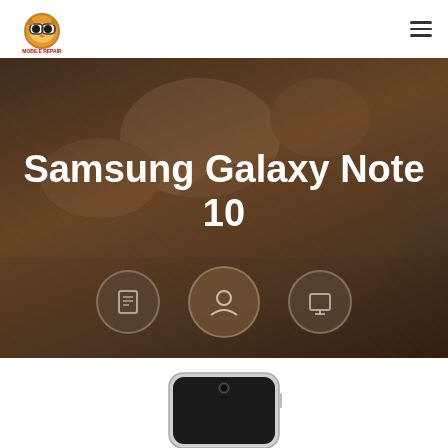[Figure (logo): Mobile Repair Guru owl mascot logo with glasses]
[Figure (illustration): Hamburger menu icon (three horizontal lines)]
Samsung Galaxy Note 10
[Figure (illustration): Three circular blurred service icons at bottom of hero image]
[Figure (photo): Partial view of Samsung Galaxy Note 10 smartphone at bottom of page]